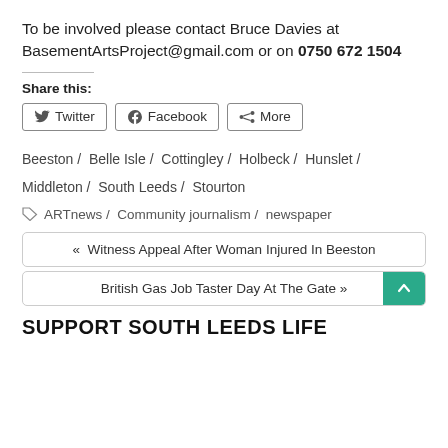To be involved please contact Bruce Davies at BasementArtsProject@gmail.com or on 0750 672 1504
Share this:
Twitter  Facebook  More
Beeston /  Belle Isle /  Cottingley /  Holbeck /  Hunslet /  Middleton /  South Leeds /  Stourton
ARTnews /  Community journalism /  newspaper
« Witness Appeal After Woman Injured In Beeston
British Gas Job Taster Day At The Gate »
SUPPORT SOUTH LEEDS LIFE